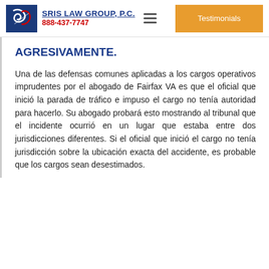SRIS LAW GROUP, P.C. 888-437-7747 Testimonials
AGRESIVAMENTE.
Una de las defensas comunes aplicadas a los cargos operativos imprudentes por el abogado de Fairfax VA es que el oficial que inició la parada de tráfico e impuso el cargo no tenía autoridad para hacerlo. Su abogado probará esto mostrando al tribunal que el incidente ocurrió en un lugar que estaba entre dos jurisdicciones diferentes. Si el oficial que inició el cargo no tenía jurisdicción sobre la ubicación exacta del accidente, es probable que los cargos sean desestimados.